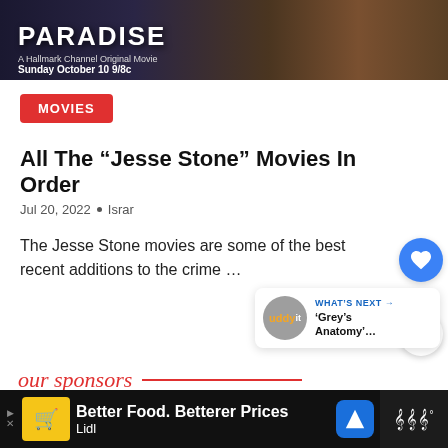[Figure (photo): Dark movie banner with title 'PARADISE', subtitle 'A Hallmark Channel Original Movie', date 'Sunday October 10 9/8c']
MOVIES
All The “Jesse Stone” Movies In Order
Jul 20, 2022  •  Israr
The Jesse Stone movies are some of the best recent additions to the crime …
WHAT'S NEXT → 'Grey’s Anatomy'…
our sponsors
[Figure (other): Ad bar: Lidl advertisement with text 'Better Food. Betterer Prices' and 'Lidl']